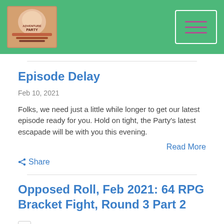[Figure (logo): Podcast logo with colorful illustrated image and text, displayed in a square box in the green header bar]
[Figure (other): Hamburger menu icon (three horizontal lines) inside a white-bordered rectangle in the top right of the green header bar]
Episode Delay
Feb 10, 2021
Folks, we need just a little while longer to get our latest episode ready for you. Hold on tight, the Party’s latest escapade will be with you this evening.
Read More
⋂ Share
Opposed Roll, Feb 2021: 64 RPG Bracket Fight, Round 3 Part 2